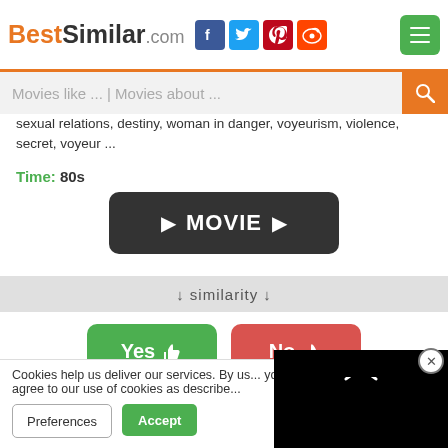BestSimilar.com
sexual relations, destiny, woman in danger, voyeurism, violence, secret, voyeur ...
Time: 80s
[Figure (other): Dark rounded button with play arrow icons and text MOVIE]
↓ similarity ↓
[Figure (other): Yes thumbs-up button (green) and No thumbs-down button (red)]
46%
Cookies help us deliver our services. By us... you agree to our use of cookies as describe...
[Figure (other): Black video player overlay with loading spinner and close button]